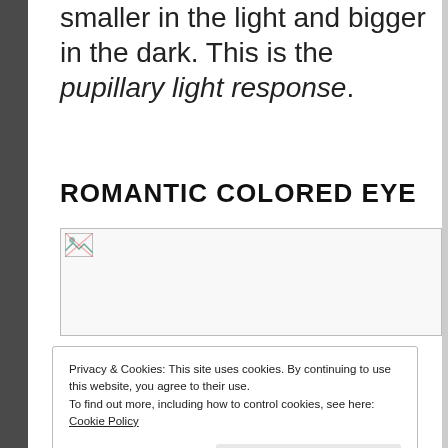smaller in the light and bigger in the dark. This is the pupillary light response.
ROMANTIC COLORED EYE
[Figure (photo): Image placeholder with broken image icon]
Privacy & Cookies: This site uses cookies. By continuing to use this website, you agree to their use.
To find out more, including how to control cookies, see here: Cookie Policy